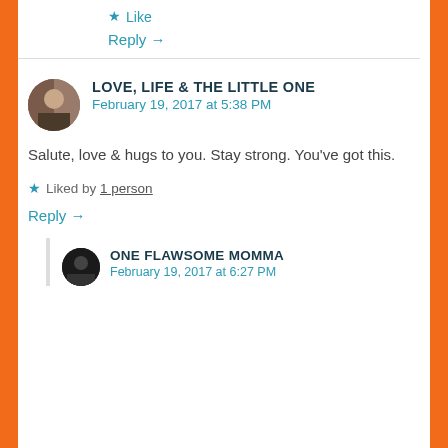★ Like
Reply →
LOVE, LIFE & THE LITTLE ONE
February 19, 2017 at 5:38 PM
Salute, love & hugs to you. Stay strong. You've got this.
★ Liked by 1 person
Reply →
ONE FLAWSOME MOMMA
February 19, 2017 at 6:27 PM